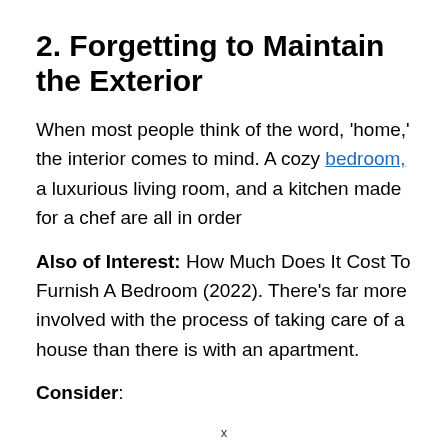2. Forgetting to Maintain the Exterior
When most people think of the word, ‘home,’ the interior comes to mind. A cozy bedroom, a luxurious living room, and a kitchen made for a chef are all in order
Also of Interest: How Much Does It Cost To Furnish A Bedroom (2022). There’s far more involved with the process of taking care of a house than there is with an apartment.
Consider: